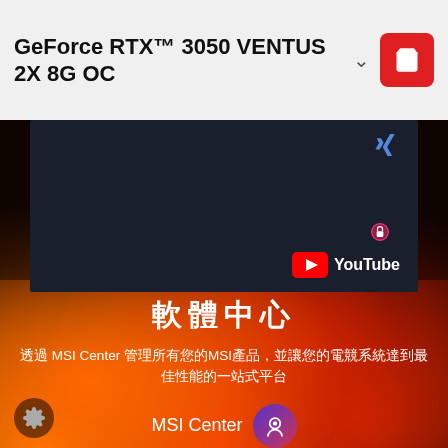GeForce RTX™ 3050 VENTUS 2X 8G OC
[Figure (screenshot): Dark video area with YouTube logo overlay, social media icon, and lock icon]
軟體中心
透過 MSI Center 管理所有您的MSI產品，並讓您的電競系統達到最佳性能的一站式平台
MSI Center
Learn More